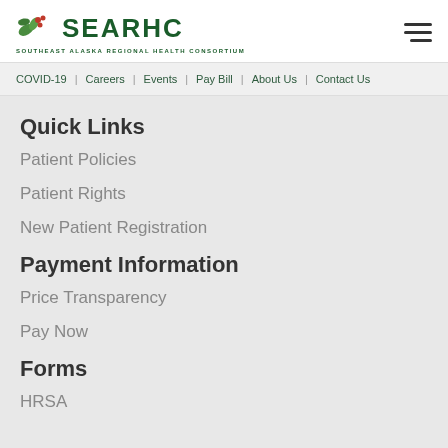[Figure (logo): SEARHC logo with green leaves and berries icon, text 'SEARHC' in dark green, subtitle 'SOUTHEAST ALASKA REGIONAL HEALTH CONSORTIUM']
COVID-19 | Careers | Events | Pay Bill | About Us | Contact Us
Quick Links
Patient Policies
Patient Rights
New Patient Registration
Payment Information
Price Transparency
Pay Now
Forms
HRSA